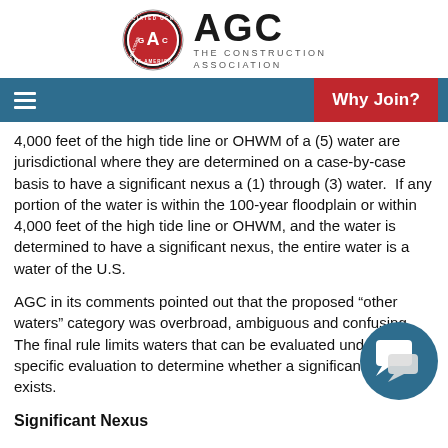[Figure (logo): AGC Associated General Contractors of America logo with circular emblem and AGC THE CONSTRUCTION ASSOCIATION text]
Why Join?
4,000 feet of the high tide line or OHWM of a (5) water are jurisdictional where they are determined on a case-by-case basis to have a significant nexus a (1) through (3) water.  If any portion of the water is within the 100-year floodplain or within 4,000 feet of the high tide line or OHWM, and the water is determined to have a significant nexus, the entire water is a water of the U.S.
AGC in its comments pointed out that the proposed “other waters” category was overbroad, ambiguous and confusing. The final rule limits waters that can be evaluated under a case-specific evaluation to determine whether a significant nexus exists.
Significant Nexus